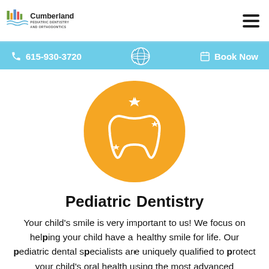Cumberland Pediatric Dentistry and Orthodontics | 615-930-3720 | Book Now
[Figure (illustration): Orange circle with white tooth icon and sparkle/star decorations on a white background]
Pediatric Dentistry
Your child's smile is very important to us! We focus on helping your child have a healthy smile for life. Our pediatric dental specialists are uniquely qualified to protect your child's oral health using the most advanced techniques, and